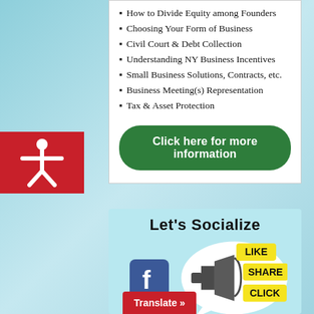How to Divide Equity among Founders
Choosing Your Form of Business
Civil Court & Debt Collection
Understanding NY Business Incentives
Small Business Solutions, Contracts, etc.
Business Meeting(s) Representation
Tax & Asset Protection
Click here for more information
[Figure (illustration): Red accessibility icon with white human figure with arms outstretched]
[Figure (illustration): Let's Socialize section with megaphone graphic, LIKE SHARE CLICK tags, Facebook logo, and Translate button]
Let's Socialize
Translate »